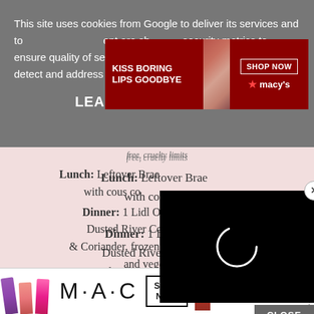This site uses cookies from Google to deliver its services and to analyze traffic. Information about your use of this site is shared with Google. By using this site, you agree to its use of cookies and data transfer outside the EU. You can manage your preferences in Google settings. Security metrics to ensure quality of service, generate usage statistics, and to detect and address abuse.
[Figure (screenshot): Macy's banner advertisement: KISS BORING LIPS GOODBYE with SHOP NOW button and Macy's star logo, featuring a woman with red lips]
LEARN MORE   OK
free, cruelty limits
Lunch: Leftover Braes with cous co
Dinner: 1 Lidl Ocea Dusted River Cobbler & Coriander, frozen  4.5 syns, potatoes and vegetables
[Figure (screenshot): Black video player popup with a white circular loading spinner]
[Figure (screenshot): MAC Cosmetics advertisement with colorful lipsticks and SHOP NOW button]